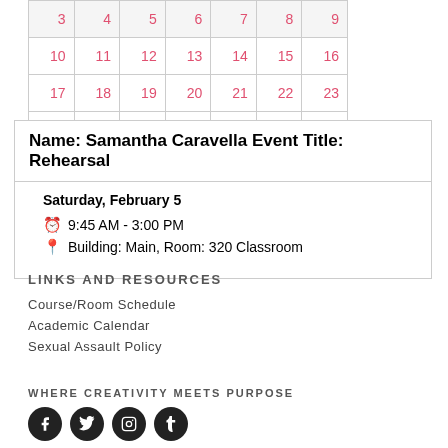| 3 | 4 | 5 | 6 | 7 | 8 | 9 |
| 10 | 11 | 12 | 13 | 14 | 15 | 16 |
| 17 | 18 | 19 | 20 | 21 | 22 | 23 |
| 24 | 25 | 26 | 27 | 28 | 29 | 30 |
Name: Samantha Caravella Event Title: Rehearsal
Saturday, February 5
9:45 AM - 3:00 PM
Building: Main, Room: 320 Classroom
LINKS AND RESOURCES
Course/Room Schedule
Academic Calendar
Sexual Assault Policy
WHERE CREATIVITY MEETS PURPOSE
[Figure (illustration): Four social media icons: Facebook, Twitter, Instagram, Tumblr]